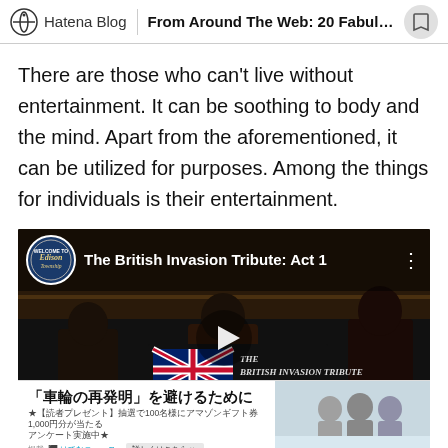Hatena Blog | From Around The Web: 20 Fabulou...
There are those who can't live without entertainment. It can be soothing to body and the mind. Apart from the aforementioned, it can be utilized for purposes. Among the things for individuals is their entertainment.
[Figure (screenshot): YouTube video embed showing 'The British Invasion Tribute: Act 1' with a band performing on stage. The video has a dark background with performers and a 'THE BRITISH INVASION TRIBUTE' banner. A play button is overlaid in the center. Below is a Japanese advertisement banner reading '車輪の再発明を避けるために'.]